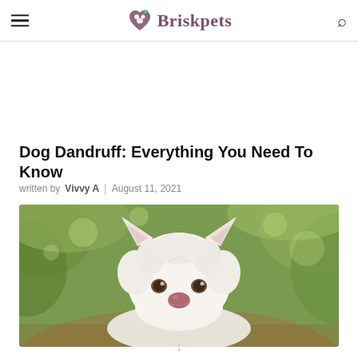Briskpets
Dog Dandruff: Everything You Need To Know
written by Vivvy A | August 11, 2021
[Figure (photo): Close-up photo of a fluffy white dog with pointed ears looking directly at the camera, set against a blurred green outdoor background.]